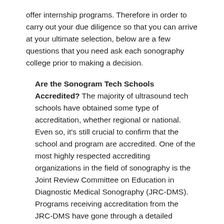offer internship programs. Therefore in order to carry out your due diligence so that you can arrive at your ultimate selection, below are a few questions that you need ask each sonography college prior to making a decision.
Are the Sonogram Tech Schools Accredited? The majority of ultrasound tech schools have obtained some type of accreditation, whether regional or national. Even so, it's still crucial to confirm that the school and program are accredited. One of the most highly respected accrediting organizations in the field of sonography is the Joint Review Committee on Education in Diagnostic Medical Sonography (JRC-DMS). Programs receiving accreditation from the JRC-DMS have gone through a detailed assessment of their teachers and course materials. If the program is online it can also obtain accreditation from the Distance Education and Training Council, which targets distance or online learning. All accrediting organizations should be